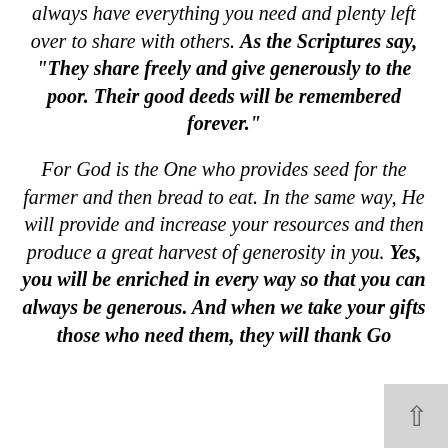always have everything you need and plenty left over to share with others. As the Scriptures say, “They share freely and give generously to the poor. Their good deeds will be remembered forever.”

For God is the One who provides seed for the farmer and then bread to eat. In the same way, He will provide and increase your resources and then produce a great harvest of generosity in you. Yes, you will be enriched in every way so that you can always be generous. And when we take your gifts those who need them, they will thank Go